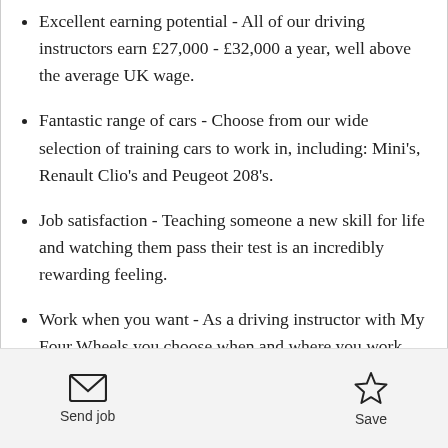Excellent earning potential - All of our driving instructors earn £27,000 - £32,000 a year, well above the average UK wage.
Fantastic range of cars - Choose from our wide selection of training cars to work in, including: Mini's, Renault Clio's and Peugeot 208's.
Job satisfaction - Teaching someone a new skill for life and watching them pass their test is an incredibly rewarding feeling.
Work when you want - As a driving instructor with My Four Wheels you choose when and where you work. No clocking in and out, just total freedom.
Send job    Save